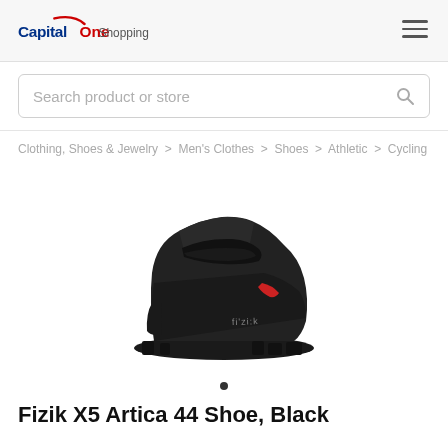Capital One Shopping
Search product or store
Clothing, Shoes & Jewelry > Men's Clothes > Shoes > Athletic > Cycling
[Figure (photo): Black Fizik X5 Artica cycling shoe, side view, with velcro strap closure, red accent, and fizik logo on side, on white background]
Fizik X5 Artica 44 Shoe, Black